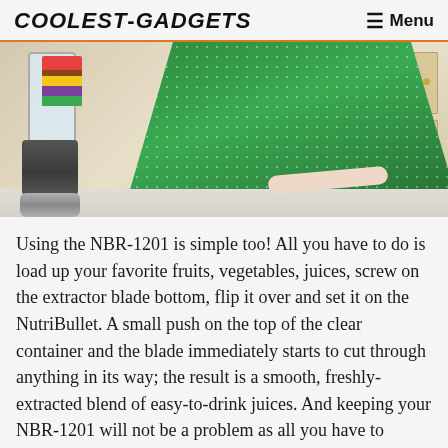COOLEST-GADGETS   ☰ Menu
[Figure (photo): Woman in green sparkly jacket standing at kitchen counter next to a NutriBullet NBR-1201 blender filled with colorful fruits and vegetables]
Using the NBR-1201 is simple too! All you have to do is load up your favorite fruits, vegetables, juices, screw on the extractor blade bottom, flip it over and set it on the NutriBullet. A small push on the top of the clear container and the blade immediately starts to cut through anything in its way; the result is a smooth, freshly-extracted blend of easy-to-drink juices. And keeping your NBR-1201 will not be a problem as all you have to